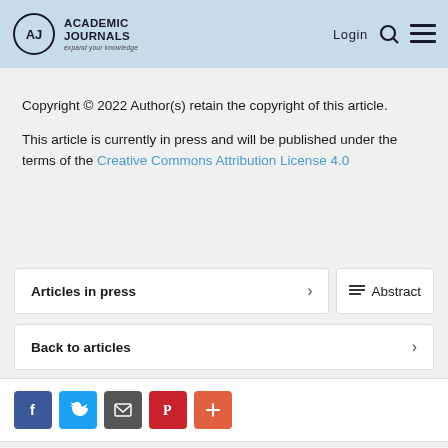Academic Journals — expand your knowledge | Login
Copyright © 2022 Author(s) retain the copyright of this article.
This article is currently in press and will be published under the terms of the Creative Commons Attribution License 4.0
Articles in press
Abstract
Back to articles
[Figure (other): Social sharing icons: Facebook, Twitter, Email, Pinterest, More]